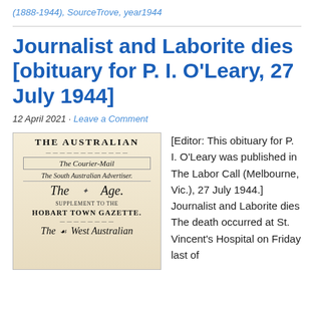(1888-1944), SourceTrove, year1944
Journalist and Laborite dies [obituary for P. I. O'Leary, 27 July 1944]
12 April 2021 · Leave a Comment
[Figure (photo): Stack of historical Australian newspaper mastheads including The Australian, The Courier-Mail, The South Australian Advertiser, The Age, Hobart Town Gazette, and The West Australian]
[Editor: This obituary for P. I. O'Leary was published in The Labor Call (Melbourne, Vic.), 27 July 1944.] Journalist and Laborite dies The death occurred at St. Vincent's Hospital on Friday last of